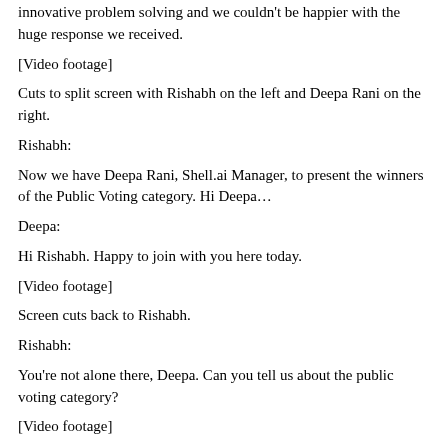innovative problem solving and we couldn't be happier with the huge response we received.
[Video footage]
Cuts to split screen with Rishabh on the left and Deepa Rani on the right.
Rishabh:
Now we have Deepa Rani, Shell.ai Manager, to present the winners of the Public Voting category. Hi Deepa…
Deepa:
Hi Rishabh. Happy to join with you here today.
[Video footage]
Screen cuts back to Rishabh.
Rishabh:
You're not alone there, Deepa. Can you tell us about the public voting category?
[Video footage]